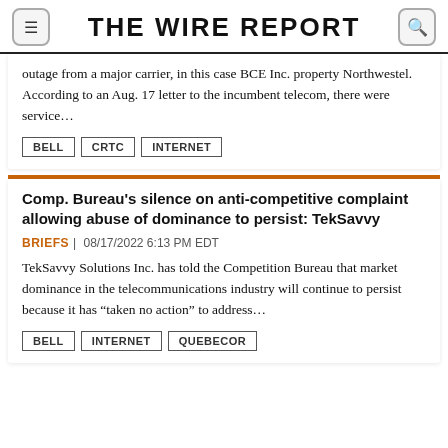THE WIRE REPORT
outage from a major carrier, in this case BCE Inc. property Northwestel. According to an Aug. 17 letter to the incumbent telecom, there were service…
BELL
CRTC
INTERNET
Comp. Bureau's silence on anti-competitive complaint allowing abuse of dominance to persist: TekSavvy
BRIEFS | 08/17/2022 6:13 PM EDT
TekSavvy Solutions Inc. has told the Competition Bureau that market dominance in the telecommunications industry will continue to persist because it has “taken no action” to address…
BELL
INTERNET
QUEBECOR